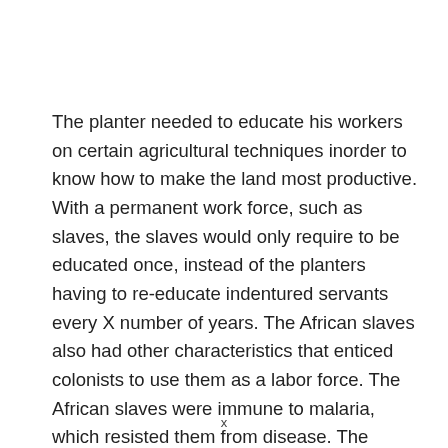The planter needed to educate his workers on certain agricultural techniques inorder to know how to make the land most productive. With a permanent work force, such as slaves, the slaves would only require to be educated once, instead of the planters having to re-educate indentured servants every X number of years. The African slaves also had other characteristics that enticed colonists to use them as a labor force. The African slaves were immune to malaria, which resisted them from disease. The africans also
x